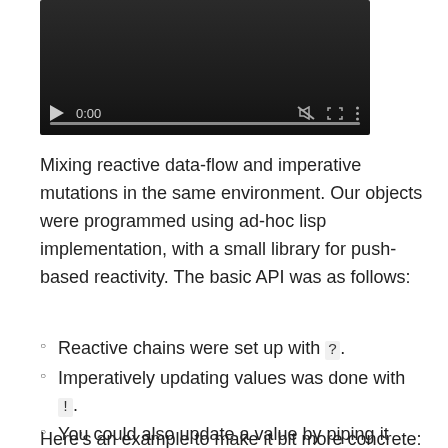[Figure (screenshot): Video player screenshot showing a dark player with play button, 0:00 timestamp, mute icon, fullscreen icon, and more options icon, with a progress bar along the bottom.]
Mixing reactive data-flow and imperative mutations in the same environment. Our objects were programmed using ad-hoc lisp implementation, with a small library for push-based reactivity. The basic API was as follows:
Reactive chains were set up with ?.
Imperatively updating values was done with !.
You could also update a value by piping it through a lambda with ?.
Here's an example to make it bit more concrete: